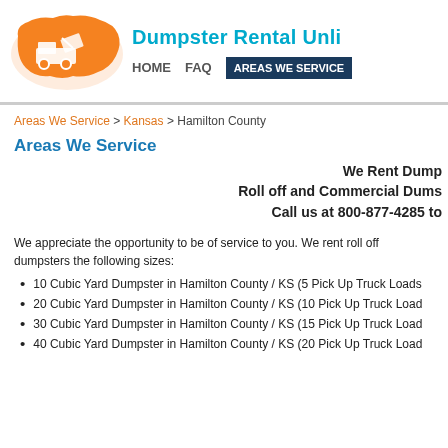[Figure (logo): Dumpster Rental Unlimited logo: orange USA map silhouette with a dumpster truck icon]
Dumpster Rental Unli...
HOME  FAQ  AREAS WE SERVICE
Areas We Service > Kansas > Hamilton County
Areas We Service
We Rent Dump... Roll off and Commercial Dums... Call us at 800-877-4285 to...
We appreciate the opportunity to be of service to you. We rent roll off dumpsters the following sizes:
10 Cubic Yard Dumpster in Hamilton County / KS (5 Pick Up Truck Loads...
20 Cubic Yard Dumpster in Hamilton County / KS (10 Pick Up Truck Load...
30 Cubic Yard Dumpster in Hamilton County / KS (15 Pick Up Truck Load...
40 Cubic Yard Dumpster in Hamilton County / KS (20 Pick Up Truck Load...